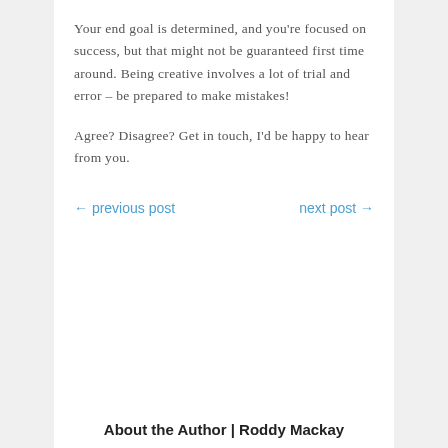Your end goal is determined, and you're focused on success, but that might not be guaranteed first time around. Being creative involves a lot of trial and error – be prepared to make mistakes!
Agree? Disagree? Get in touch, I'd be happy to hear from you.
← previous post    next post →
About the Author | Roddy Mackay